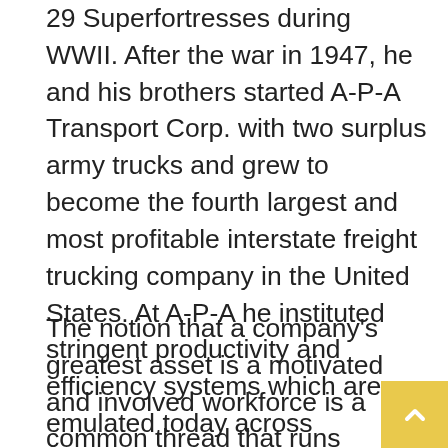29 Superfortresses during WWII. After the war in 1947, he and his brothers started A-P-A Transport Corp. with two surplus army trucks and grew to become the fourth largest and most profitable interstate freight trucking company in the United States. At A-P-A he instituted stringent productivity and efficiency systems which are emulated today across numerous industries.
The notion that a company's greatest asset is a motivated and involved workforce is a common thread that runs throughout Imperatore's successful enterprises. He was committed to connecting,